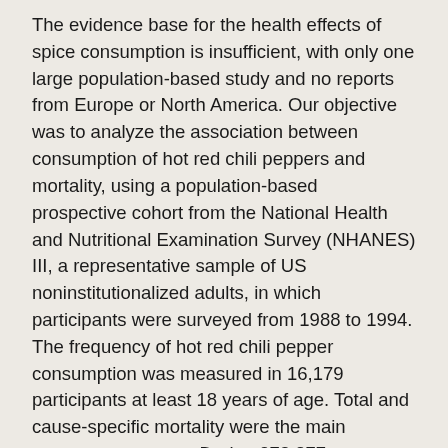The evidence base for the health effects of spice consumption is insufficient, with only one large population-based study and no reports from Europe or North America. Our objective was to analyze the association between consumption of hot red chili peppers and mortality, using a population-based prospective cohort from the National Health and Nutritional Examination Survey (NHANES) III, a representative sample of US noninstitutionalized adults, in which participants were surveyed from 1988 to 1994. The frequency of hot red chili pepper consumption was measured in 16,179 participants at least 18 years of age. Total and cause-specific mortality were the main outcome measures. During 273,877 person-years of follow-up (median 18.9 years), a total of 4,946 deaths were observed. Total mortality for participants who consumed hot red chili peppers was 21.6% compared to 33.6% for those who did not (absolute risk reduction of 12%; relative risk of 0.64). Adjusted for demographic, lifestyle, and clinical characteristics, the hazard ratio was 0.87 (P = 0.01; 95% Confidence Interval 0.77, 0.97). Consumption of hot red chili peppers was associated